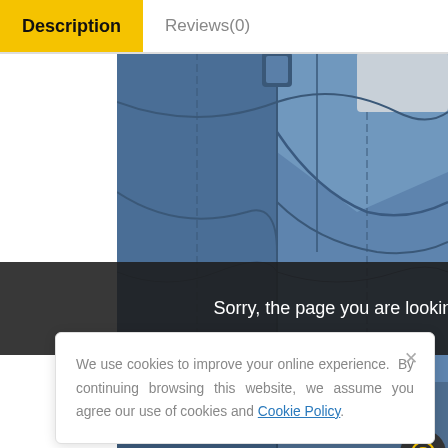Description
Reviews(0)
[Figure (photo): Close-up photo of blue denim jeans showing pocket and waistband detail]
Sorry, the page you are looking for could not be found.
We use cookies to improve your online experience. By continuing browsing this website, we assume you agree our use of cookies and Cookie Policy.